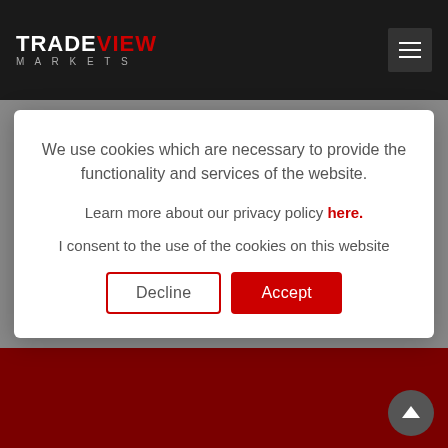TRADEVIEW MARKETS
We use cookies which are necessary to provide the functionality and services of the website.
Learn more about our privacy policy here.
I consent to the use of the cookies on this website
Decline | Accept